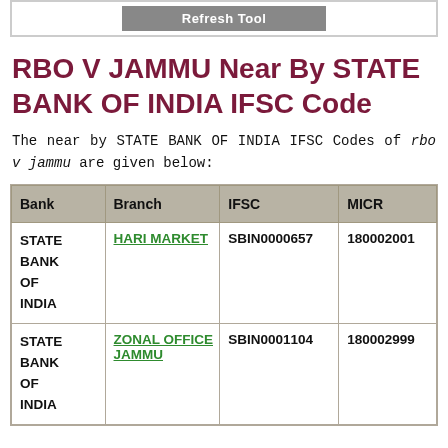Refresh Tool
RBO V JAMMU Near By STATE BANK OF INDIA IFSC Code
The near by STATE BANK OF INDIA IFSC Codes of rbo v jammu are given below:
| Bank | Branch | IFSC | MICR |
| --- | --- | --- | --- |
| STATE BANK OF INDIA | HARI MARKET | SBIN0000657 | 180002001 |
| STATE BANK OF INDIA | ZONAL OFFICE JAMMU | SBIN0001104 | 180002999 |